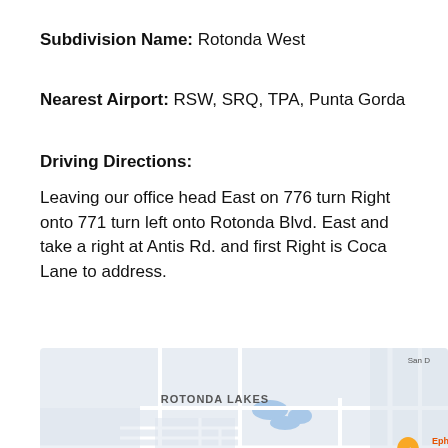Subdivision Name: Rotonda West
Nearest Airport: RSW, SRQ, TPA, Punta Gorda
Driving Directions:
Leaving our office head East on 776 turn Right onto 771 turn left onto Rotonda Blvd. East and take a right at Antis Rd. and first Right is Coca Lane to address.
[Figure (map): Google Maps screenshot showing Rotonda Lakes area with streets including Ingraham Blvd, Boundary Blvd, Rotonda Cir, Antis Dr, and businesses Dollar General and Ephes Grill & highlighted with pins.]